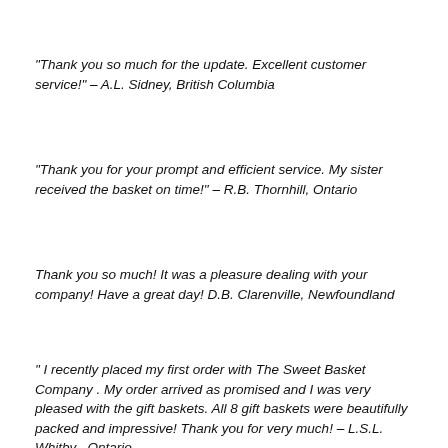“Thank you so much for the update. Excellent customer service!” – A.L.  Sidney, British Columbia
“Thank you for your prompt and efficient service. My sister received the basket on time!” – R.B. Thornhill, Ontario
Thank you so much! It was a pleasure dealing with your company! Have a great day!  D.B. Clarenville, Newfoundland
” I recently placed my first order with The Sweet Basket Company . My order arrived as promised and I was very pleased with the gift baskets. All 8 gift baskets were beautifully packed and impressive! Thank you for very much! – L.S.L.  Whitby , Ontario